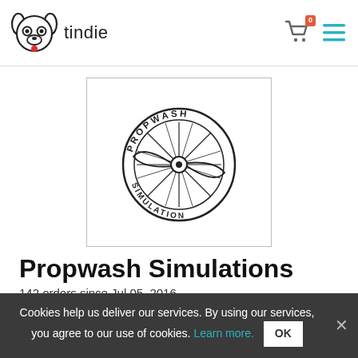tindie
[Figure (logo): Propwash Simulation circular logo with propeller illustration and text 'PROPWASH SIMULATION' around the circle]
Propwash Simulations
142 orders since Jul 05, 2016
★★★★☆ 4 Reviews
📍 Trenton, SC, United States of America
📦 Ships from United States of America.
Cookies help us deliver our services. By using our services, you agree to our use of cookies. Learn more. OK